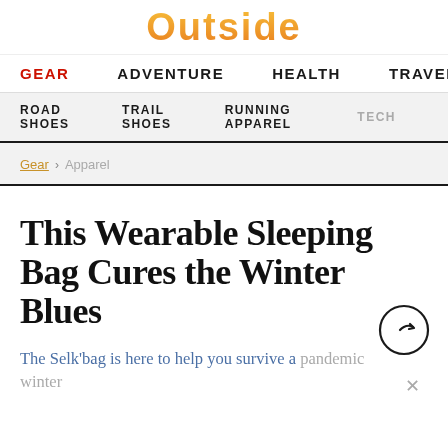Outside
GEAR  ADVENTURE  HEALTH  TRAVEL
ROAD SHOES  TRAIL SHOES  RUNNING APPAREL  TECH
Gear > Apparel
This Wearable Sleeping Bag Cures the Winter Blues
The Selk'bag is here to help you survive a pandemic winter